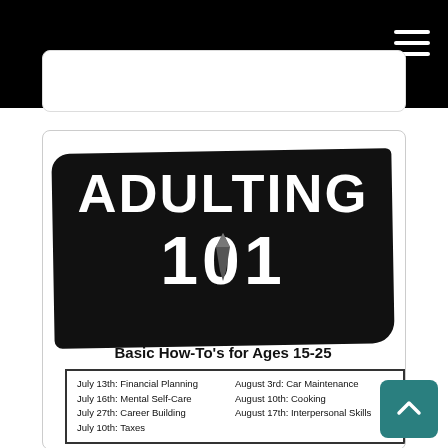Navigation bar with hamburger menu
[Figure (illustration): Adulting 101 promotional poster for a workshop series. Features bold white text 'ADULTING 101' on a black brushstroke background, subtitle 'Basic How-To's for Ages 15-25', and a schedule listing: July 13th: Financial Planning, July 16th: Mental Self-Care, July 27th: Career Building, August 3rd: Car Maintenance, August 10th: Cooking, August 17th: Interpersonal Skills, and more dates partially visible.]